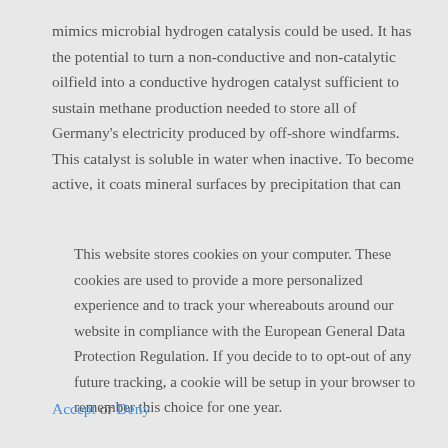mimics microbial hydrogen catalysis could be used. It has the potential to turn a non-conductive and non-catalytic oilfield into a conductive hydrogen catalyst sufficient to sustain methane production needed to store all of Germany’s electricity produced by off-shore windfarms. This catalyst is soluble in water when inactive. To become active, it coats mineral surfaces by precipitation that can
This website stores cookies on your computer. These cookies are used to provide a more personalized experience and to track your whereabouts around our website in compliance with the European General Data Protection Regulation. If you decide to to opt-out of any future tracking, a cookie will be setup in your browser to remember this choice for one year.
Accept or Deny